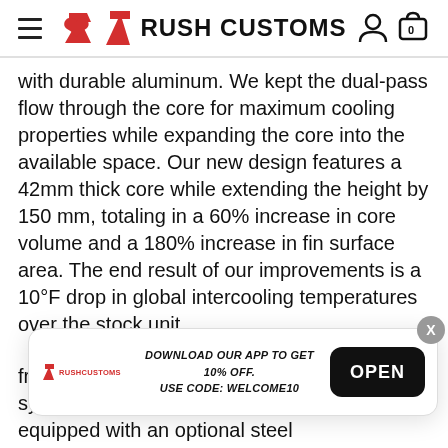RUSH CUSTOMS
with durable aluminum. We kept the dual-pass flow through the core for maximum cooling properties while expanding the core into the available space. Our new design features a 42mm thick core while extending the height by 150 mm, totaling in a 60% increase in core volume and a 180% increase in fin surface area. The end result of our improvements is a 10°F drop in global intercooling temperatures over the stock unit.
[Figure (screenshot): App download popup banner with Rush Customs logo, text 'DOWNLOAD OUR APP TO GET 10% OFF. USE CODE: WELCOME10' and an OPEN button. An X close button appears top right.]
from road debris. To keep your air-to-water system safe, our heat exchanger comes equipped with an optional steel